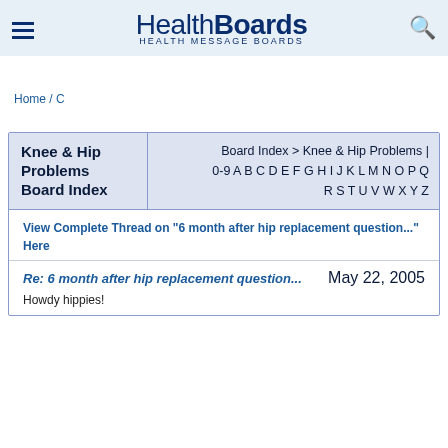HealthBoards HEALTH MESSAGE BOARDS
Home / C
Knee & Hip Problems Board Index
Board Index > Knee & Hip Problems | 0-9 A B C D E F G H I J K L M N O P Q R S T U V W X Y Z
View Complete Thread on "6 month after hip replacement question..." Here
Re: 6 month after hip replacement question...    May 22, 2005
Howdy hippies!